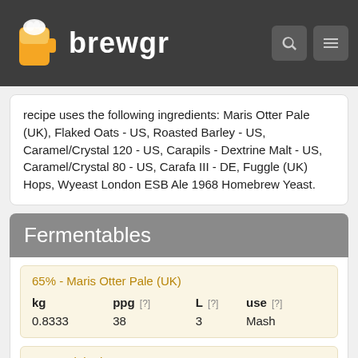brewgr
recipe uses the following ingredients: Maris Otter Pale (UK), Flaked Oats - US, Roasted Barley - US, Caramel/Crystal 120 - US, Carapils - Dextrine Malt - US, Caramel/Crystal 80 - US, Carafa III - DE, Fuggle (UK) Hops, Wyeast London ESB Ale 1968 Homebrew Yeast.
Fermentables
| kg | ppg [?] | L [?] | use [?] |
| --- | --- | --- | --- |
| 0.8333 | 38 | 3 | Mash |
| kg | ppg [?] | L [?] | use [?] |
| --- | --- | --- | --- |
| 0.15 | 37 | 1 | Mash |